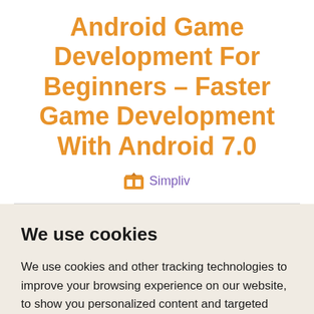Android Game Development For Beginners - Faster Game Development With Android 7.0
Simpliv
We use cookies
We use cookies and other tracking technologies to improve your browsing experience on our website, to show you personalized content and targeted ads, to analyze our website traffic, and